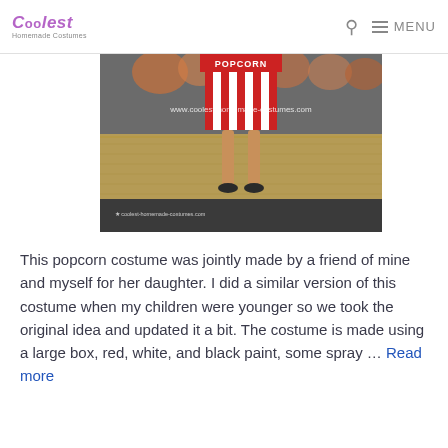Coolest Homemade Costumes — MENU
[Figure (photo): A child wearing a homemade popcorn box costume, standing in front of hay bales. The costume is a red and white striped box with POPCORN text. Two watermarks read 'www.coolest-homemade-costumes.com' and 'coolest-homemade-costumes.com'.]
This popcorn costume was jointly made by a friend of mine and myself for her daughter. I did a similar version of this costume when my children were younger so we took the original idea and updated it a bit. The costume is made using a large box, red, white, and black paint, some spray … Read more